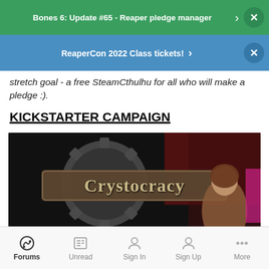Bones 6: Update #65 - Reaper pledge manager
ReaperCon 2022 Class tickets!
stretch goal - a free SteamCthulhu for all who will make a pledge :).
KICKSTARTER CAMPAIGN
[Figure (photo): Crystocracy game logo on dark background with female character - Kickstarter campaign image]
Forums | Unread | Sign In | Sign Up | More